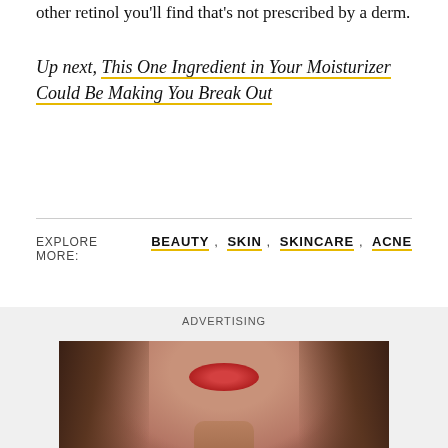other retinol you'll find that's not prescribed by a derm.
Up next, This One Ingredient in Your Moisturizer Could Be Making You Break Out
EXPLORE MORE: BEAUTY , SKIN , SKINCARE , ACNE
[Figure (photo): Close-up photograph of a woman with long brown hair, red lips, wearing a dark turtleneck, against a warm brown background. Used as advertising image.]
ADVERTISING